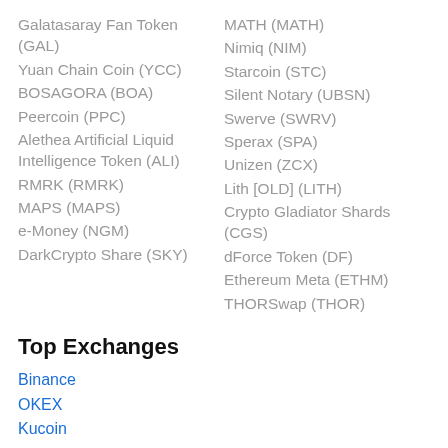Galatasaray Fan Token (GAL)
Yuan Chain Coin (YCC)
BOSAGORA (BOA)
Peercoin (PPC)
Alethea Artificial Liquid Intelligence Token (ALI)
RMRK (RMRK)
MAPS (MAPS)
e-Money (NGM)
DarkCrypto Share (SKY)
MATH (MATH)
Nimiq (NIM)
Starcoin (STC)
Silent Notary (UBSN)
Swerve (SWRV)
Sperax (SPA)
Unizen (ZCX)
Lith [OLD] (LITH)
Crypto Gladiator Shards (CGS)
dForce Token (DF)
Ethereum Meta (ETHM)
THORSwap (THOR)
Top Exchanges
Binance
OKEX
Kucoin